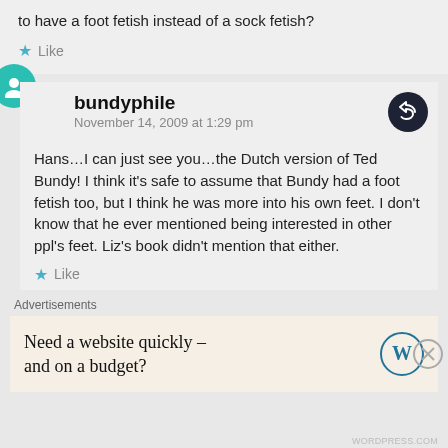to have a foot fetish instead of a sock fetish?
Like
bundyphile
November 14, 2009 at 1:29 pm
Hans…I can just see you…the Dutch version of Ted Bundy! I think it's safe to assume that Bundy had a foot fetish too, but I think he was more into his own feet. I don't know that he ever mentioned being interested in other ppl's feet. Liz's book didn't mention that either.
Like
Advertisements
Need a website quickly – and on a budget?